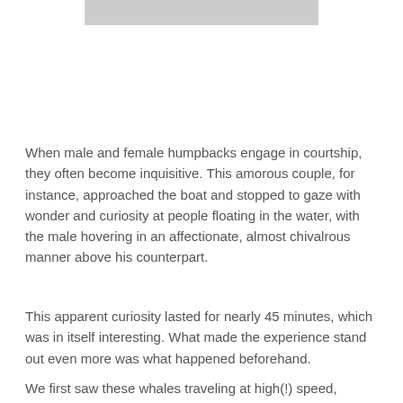[Figure (photo): Partial image of humpback whales, cropped at top of page]
When male and female humpbacks engage in courtship, they often become inquisitive. This amorous couple, for instance, approached the boat and stopped to gaze with wonder and curiosity at people floating in the water, with the male hovering in an affectionate, almost chivalrous manner above his counterpart.
This apparent curiosity lasted for nearly 45 minutes, which was in itself interesting. What made the experience stand out even more was what happened beforehand.
We first saw these whales traveling at high(!) speed, heading